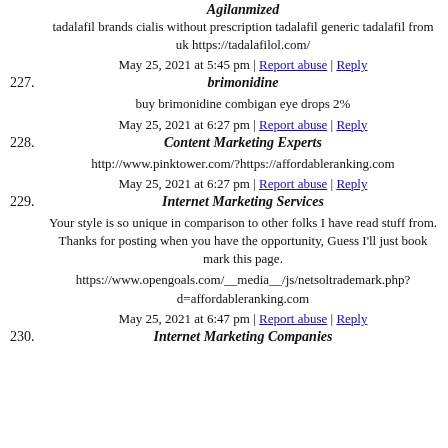Agilanmized
tadalafil brands cialis without prescription tadalafil generic tadalafil from uk https://tadalafilol.com/
May 25, 2021 at 5:45 pm | Report abuse | Reply
227. brimonidine
buy brimonidine combigan eye drops 2%
May 25, 2021 at 6:27 pm | Report abuse | Reply
228. Content Marketing Experts
http://www.pinktower.com/?https://affordableranking.com
May 25, 2021 at 6:27 pm | Report abuse | Reply
229. Internet Marketing Services
Your style is so unique in comparison to other folks I have read stuff from. Thanks for posting when you have the opportunity, Guess I'll just book mark this page.
https://www.opengoals.com/__media__/js/netsoltrademark.php?d=affordableranking.com
May 25, 2021 at 6:47 pm | Report abuse | Reply
230. Internet Marketing Companies